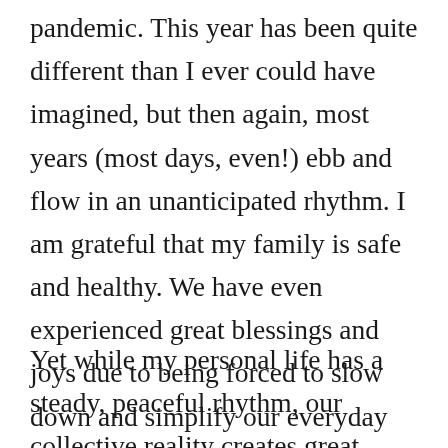pandemic.  This year has been quite different than I ever could have imagined, but then again, most years (most days, even!) ebb and flow in an unanticipated rhythm.  I am grateful that my family is safe and healthy.  We have even experienced great blessings and joys due to being forced to slow down and simplify our everyday life.
Yet while my personal life has a steady, peaceful rhythm, our collective reality creates great sadness and worry in my being.  My spirit